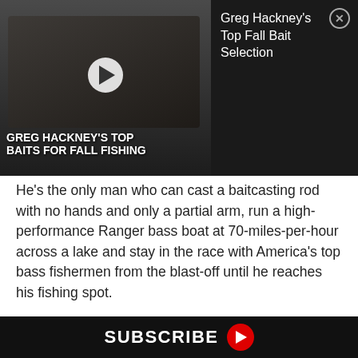[Figure (screenshot): Video thumbnail overlay showing Greg Hackney's Top Baits for Fall Fishing with play button, and a dark panel showing the title 'Greg Hackney's Top Fall Bait Selection' with a close button]
He's the only man who can cast a baitcasting rod with no hands and only a partial arm, run a high-performance Ranger bass boat at 70-miles-per-hour across a lake and stay in the race with America's top bass fishermen from the blast-off until he reaches his fishing spot.
Dyer can:
• operate a trolling motor and maneuver his boat with no feet or legs;
• take a lure out of his tackle box with no hands;
SUBSCRIBE